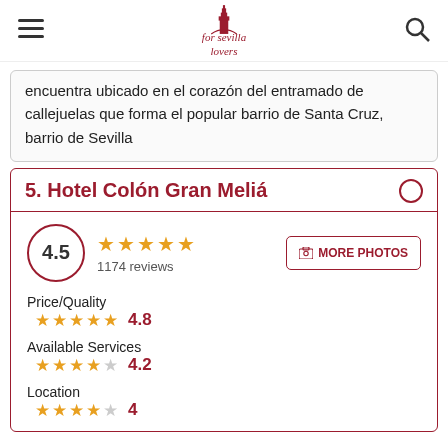for sevilla lovers (logo/header)
encuentra ubicado en el corazón del entramado de callejuelas que forma el popular barrio de Santa Cruz, barrio de Sevilla
5. Hotel Colón Gran Meliá
4.5 · ★★★★½ · 1174 reviews
Price/Quality ★★★★★ 4.8
Available Services ★★★★☆ 4.2
Location ★★★★☆ 4